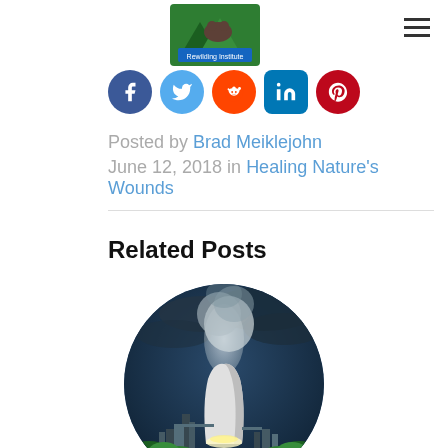[Figure (logo): Rewilding Institute logo with mountain and animal graphic]
[Figure (infographic): Social media sharing icons: Facebook, Twitter, Reddit, LinkedIn, Pinterest]
Posted by Brad Meiklejohn June 12, 2018 in Healing Nature's Wounds
Related Posts
[Figure (photo): Circular photo of a nuclear or industrial cooling tower emitting steam at dusk with dark storm clouds, illuminated at base, surrounded by trees]